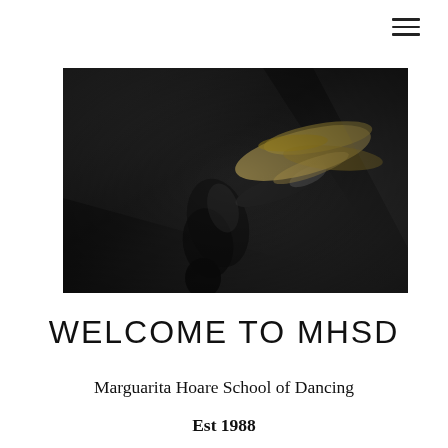[Figure (photo): A dancer in dramatic motion against a dark background, with flowing blonde hair, wearing dark clothing, illuminated by a diagonal beam of light]
WELCOME TO MHSD
Marguarita Hoare School of Dancing
Est 1988